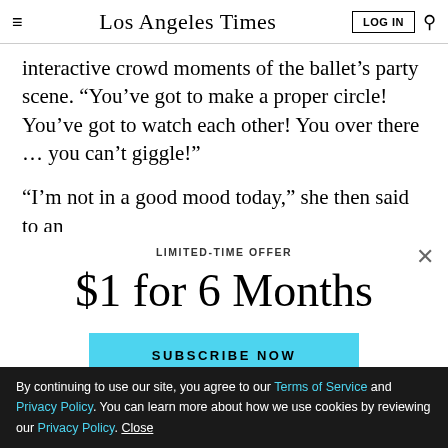Los Angeles Times | LOG IN | Search
interactive crowd moments of the ballet's party scene. “You’ve got to make a proper circle! You’ve got to watch each other! You over there … you can’t giggle!”
“I’m not in a good mood today,” she then said to an
LIMITED-TIME OFFER
$1 for 6 Months
SUBSCRIBE NOW
By continuing to use our site, you agree to our Terms of Service and Privacy Policy. You can learn more about how we use cookies by reviewing our Privacy Policy. Close